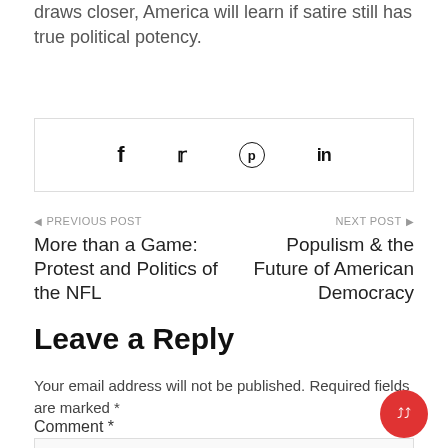draws closer, America will learn if satire still has true political potency.
[Figure (other): Social share buttons: Facebook (f), Twitter (bird), Pinterest (circle-p), LinkedIn (in)]
◄ PREVIOUS POST
More than a Game: Protest and Politics of the NFL
NEXT POST ►
Populism & the Future of American Democracy
Leave a Reply
Your email address will not be published. Required fields are marked *
Comment *